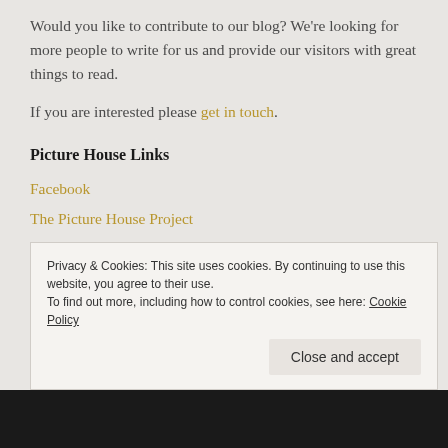Would you like to contribute to our blog? We're looking for more people to write for us and provide our visitors with great things to read.
If you are interested please get in touch.
Picture House Links
Facebook
The Picture House Project
Twitter
Website
Privacy & Cookies: This site uses cookies. By continuing to use this website, you agree to their use. To find out more, including how to control cookies, see here: Cookie Policy
Close and accept